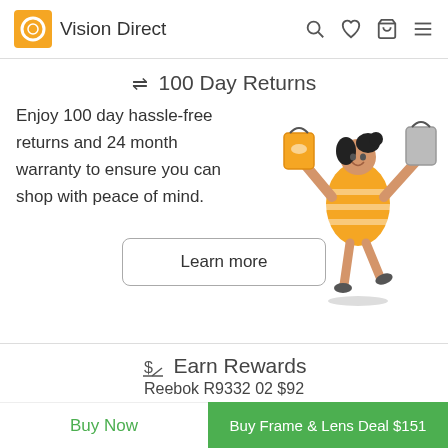Vision Direct
⇌ 100 Day Returns
Enjoy 100 day hassle-free returns and 24 month warranty to ensure you can shop with peace of mind.
[Figure (illustration): Cartoon woman in orange striped dress holding shopping bags in both raised hands, jumping joyfully]
Learn more
$ Earn Rewards
Reebok R9332 02 $92
Buy Now
Buy Frame & Lens Deal $151